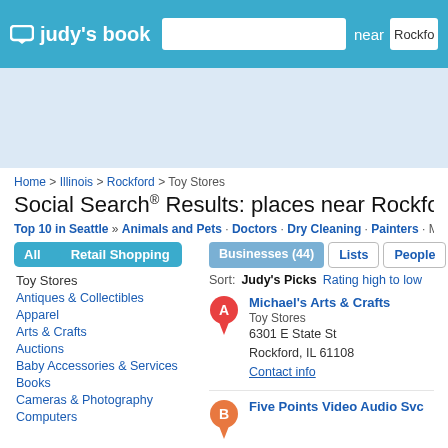judy's book | near Rockfo...
[Figure (screenshot): Light blue ad banner area]
Home > Illinois > Rockford > Toy Stores
Social Search® Results: places near Rockford, IL (0.0...)
Top 10 in Seattle » Animals and Pets · Doctors · Dry Cleaning · Painters · More To...
All  Retail Shopping
Toy Stores
Antiques & Collectibles
Apparel
Arts & Crafts
Auctions
Baby Accessories & Services
Books
Cameras & Photography
Computers
Businesses (44)  Lists  People
Sort: Judy's Picks  Rating high to low
Michael's Arts & Crafts
Toy Stores
6301 E State St
Rockford, IL 61108
Contact info
Five Points Video Audio Svc